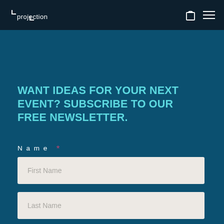projection
WANT IDEAS FOR YOUR NEXT EVENT? SUBSCRIBE TO OUR FREE NEWSLETTER.
Name *
First Name
Last Name